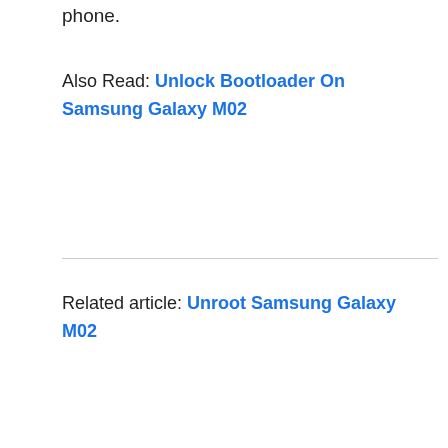phone.
Also Read: Unlock Bootloader On Samsung Galaxy M02
Related article: Unroot Samsung Galaxy M02
So, I have shown you the complete steps to Restore Samsung Galaxy M02 on Stock ROM, Make sure to leave a comment on which if this guide works on your phone.
[Figure (other): Advertisement overlay for Pet Health + Wellness Products by Loyal Companion with logo and navigation arrow icon, partially obscuring the page content]